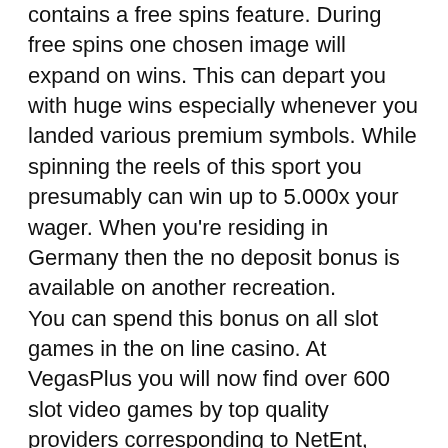contains a free spins feature. During free spins one chosen image will expand on wins. This can depart you with huge wins especially whenever you landed various premium symbols. While spinning the reels of this sport you presumably can win up to 5.000x your wager. When you're residing in Germany then the no deposit bonus is available on another recreation.
You can spend this bonus on all slot games in the on line casino. At VegasPlus you will now find over 600 slot video games by top quality providers corresponding to NetEnt, iSoftBet, Playson, Pragmatic Play and Yggdrasil. At Gate777 on line casino you can begin enjoying with a €10 deposit. And the on line casino provides protected payments and super-fast withdrawal options.
Live vendor games are available on this online...